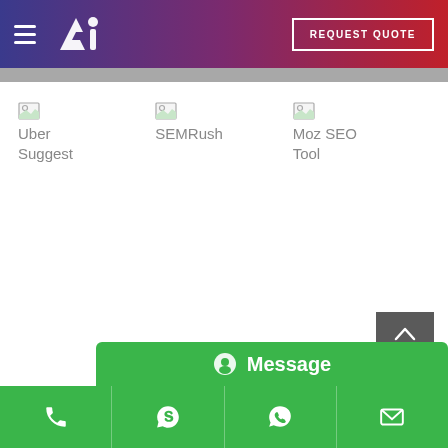AI Logo | REQUEST QUOTE
[Figure (screenshot): Broken image placeholder for Uber Suggest]
Uber Suggest
[Figure (screenshot): Broken image placeholder for SEMRush]
SEMRush
[Figure (screenshot): Broken image placeholder for Moz SEO Tool]
Moz SEO Tool
TOP
Message
Phone | Skype | WhatsApp | Email